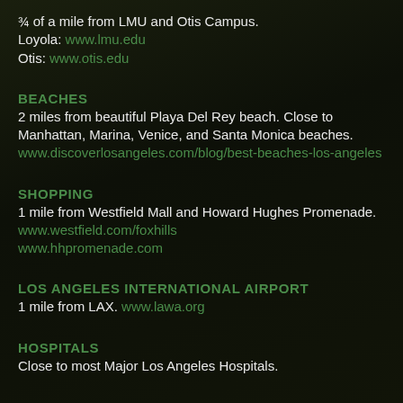¾ of a mile from LMU and Otis Campus.
Loyola: www.lmu.edu
Otis: www.otis.edu
BEACHES
2 miles from beautiful Playa Del Rey beach. Close to Manhattan, Marina, Venice, and Santa Monica beaches. www.discoverlosangeles.com/blog/best-beaches-los-angeles
SHOPPING
1 mile from Westfield Mall and Howard Hughes Promenade. www.westfield.com/foxhills www.hhpromenade.com
LOS ANGELES INTERNATIONAL AIRPORT
1 mile from LAX. www.lawa.org
HOSPITALS
Close to most Major Los Angeles Hospitals.